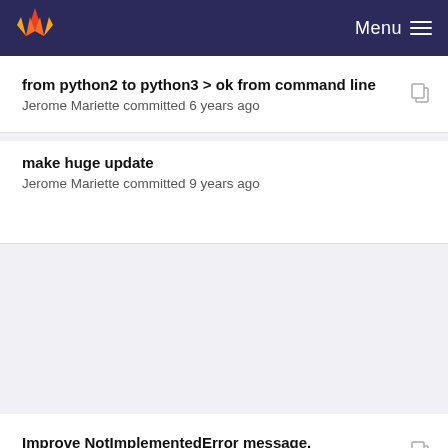Menu
from python2 to python3 > ok from command line
Jerome Mariette committed 6 years ago
make huge update
Jerome Mariette committed 9 years ago
Improve NotImplementedError message.
Frédéric Escudié committed 8 years ago
first step to make Parameter looks good
Jerome Mariette committed 8 years ago
Improve NotImplementedError message.
Frédéric Escudié committed 8 years ago